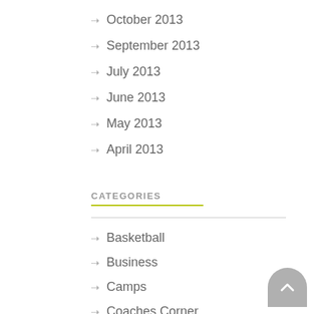October 2013
September 2013
July 2013
June 2013
May 2013
April 2013
CATEGORIES
Basketball
Business
Camps
Coaches Corner
EQ 101
Faith
Family